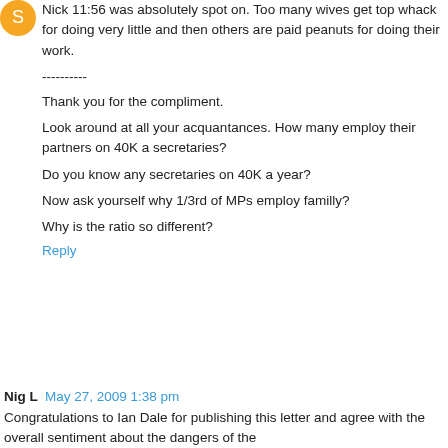[Figure (illustration): Orange circle avatar icon]
Nick 11:56 was absolutely spot on. Too many wives get top whack for doing very little and then others are paid peanuts for doing their work.
----------
Thank you for the compliment.
Look around at all your acquantances. How many employ their partners on 40K a secretaries?
Do you know any secretaries on 40K a year?
Now ask yourself why 1/3rd of MPs employ familly?
Why is the ratio so different?
Reply
Nig L  May 27, 2009 1:38 pm
Congratulations to Ian Dale for publishing this letter and agree with the overall sentiment about the dangers of the